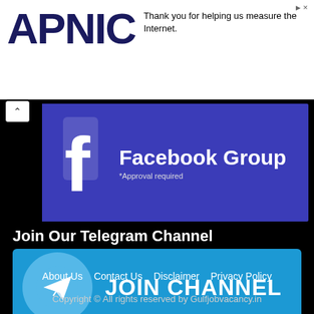[Figure (logo): APNIC logo in dark navy bold text on white background]
Thank you for helping us measure the Internet.
[Figure (illustration): Facebook Group banner with Facebook icon and text 'Facebook Group' on blue/purple background with '*Approval required' subtitle]
Join Our Telegram Channel
[Figure (illustration): Telegram JOIN CHANNEL banner — blue background with Telegram paper plane logo and 'JOIN CHANNEL' text]
About Us   Contact Us   Disclaimer   Privacy Policy
Copyright © All rights reserved by Gulfjobvacancy.in